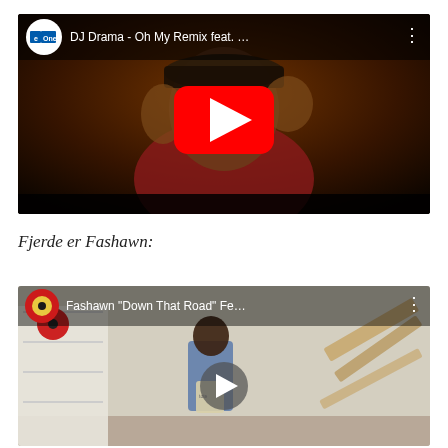[Figure (screenshot): YouTube video thumbnail for 'DJ Drama - Oh My Remix feat.' with eOne channel logo, dark background showing a person wearing a cap and red jacket, large red YouTube play button in center, video title bar at top, three-dot menu icon.]
Fjerde er Fashawn:
[Figure (screenshot): YouTube video thumbnail for 'Fashawn "Down That Road" Fe...' showing a person in a room with shelves, carrying a bag, small white play button in center, video title bar at top, three-dot menu icon.]